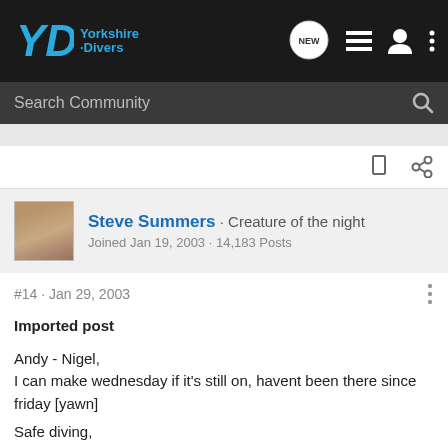Yorkshire Divers
Search Community
Steve Summers · Creature of the night
Joined Jan 19, 2003 · 14,183 Posts
#14 · Jan 29, 2003
Imported post

Andy - Nigel,
I can make wednesday if it's still on, havent been there since friday [yawn]

Safe diving,